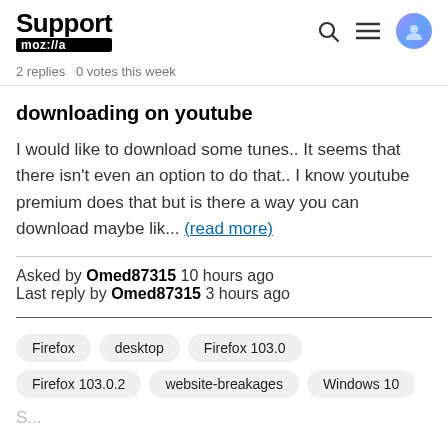Support mozilla// [search icon] [menu icon] [user icon]
2 replies   0 votes this week
downloading on youtube
I would like to download some tunes.. It seems that there isn't even an option to do that.. I know youtube premium does that but is there a way you can download maybe lik... (read more)
Asked by Omed87315 10 hours ago
Last reply by Omed87315 3 hours ago
Firefox
desktop
Firefox 103.0
Firefox 103.0.2
website-breakages
Windows 10